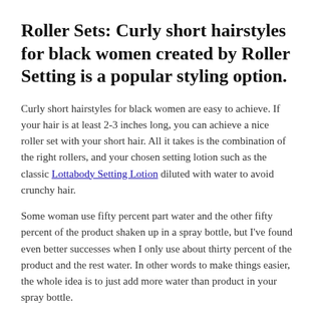Roller Sets: Curly short hairstyles for black women created by Roller Setting is a popular styling option.
Curly short hairstyles for black women are easy to achieve. If your hair is at least 2-3 inches long, you can achieve a nice roller set with your short hair. All it takes is the combination of the right rollers, and your chosen setting lotion such as the classic Lottabody Setting Lotion diluted with water to avoid crunchy hair.
Some woman use fifty percent part water and the other fifty percent of the product shaken up in a spray bottle, but I've found even better successes when I only use about thirty percent of the product and the rest water. In other words to make things easier, the whole idea is to just add more water than product in your spray bottle.